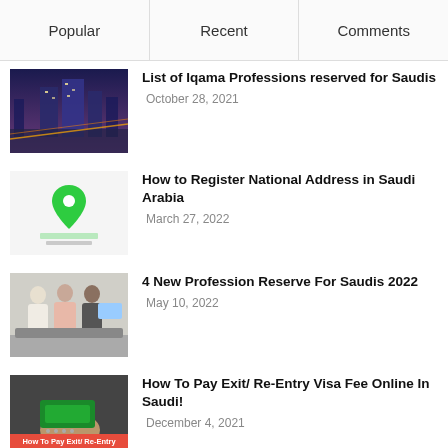Popular | Recent | Comments
List of Iqama Professions reserved for Saudis — October 28, 2021
How to Register National Address in Saudi Arabia — March 27, 2022
4 New Profession Reserve For Saudis 2022 — May 10, 2022
How To Pay Exit/ Re-Entry Visa Fee Online In Saudi! — December 4, 2021